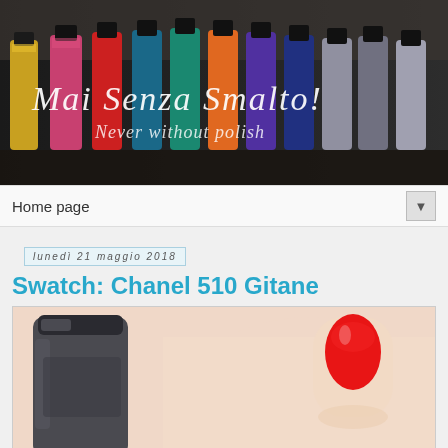[Figure (photo): Banner image of nail polish bottles lined up, with text 'Mai Senza Smalto!' and 'Never without polish' overlaid in white italic font]
Home page
lunedì 21 maggio 2018
Swatch: Chanel 510 Gitane
[Figure (photo): Close-up photo of a hand with bright red nail polish (Chanel 510 Gitane) next to a dark grey/charcoal nail polish bottle]